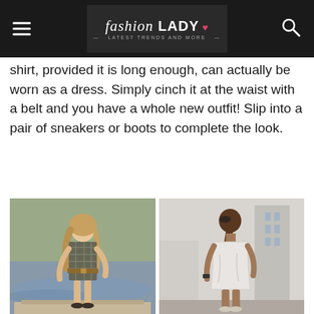fashion LADY - Latest Trends and More
shirt, provided it is long enough, can actually be worn as a dress. Simply cinch it at the waist with a belt and you have a whole new outfit! Slip into a pair of sneakers or boots to complete the look.
[Figure (photo): Two fashion photos side by side: left shows a blonde woman wearing a plaid flannel shirt cinched with a belt as a dress, standing on a dock near water; right shows a woman from behind wearing a loose white shirt dress, standing in an urban setting with buildings in the background.]